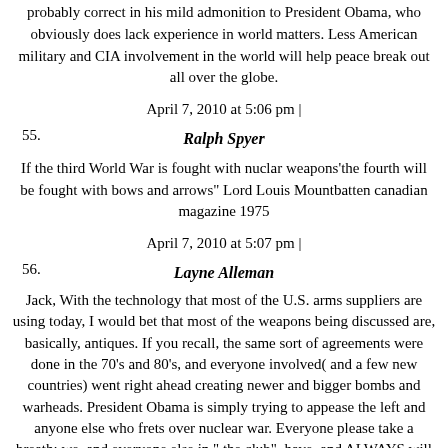probably correct in his mild admonition to President Obama, who obviously does lack experience in world matters. Less American military and CIA involvement in the world will help peace break out all over the globe.
April 7, 2010 at 5:06 pm |
55. Ralph Spyer
If the third World War is fought with nuclar weapons'the fourth will be fought with bows and arrows" Lord Louis Mountbatten canadian magazine 1975
April 7, 2010 at 5:07 pm |
56. Layne Alleman
Jack, With the technology that most of the U.S. arms suppliers are using today, I would bet that most of the weapons being discussed are, basically, antiques. If you recall, the same sort of agreements were done in the 70's and 80's, and everyone involved( and a few new countries) went right ahead creating newer and bigger bombs and warheads. President Obama is simply trying to appease the left and anyone else who frets over nuclear war. Everyone please take a breath; we, and everyone else in " the club", have, and ALWAYS will have, enough nuclear weapons to destroy this universe many times over. So relax, if anyone really gets out